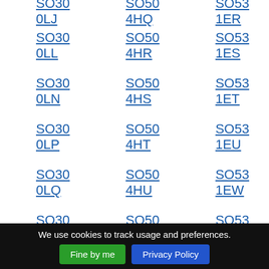SO30 0LJ  SO50 4HQ  SO53 1ER
SO30 0LL  SO50 4HR  SO53 1ES
SO30 0LN  SO50 4HS  SO53 1ET
SO30 0LP  SO50 4HT  SO53 1EU
SO30 0LQ  SO50 4HU  SO53 1EW
SO30 0LR  SO50 4HW  SO53 1EX
SO30 0LS  SO50 4HX  SO53 1EY
SO30 0LT  SO50 4HY  SO53 1EZ
SO30 0LU  SO50 4HZ  SO53 1FB
SO30 0LW  SO50 4JA  SO53 1FD
SO30 0LX  SO50 4JB  SO53 1FE
SO30 0LY  SO50 4JD  SO53 1FF
SO30 0LZ  SO50 4JE  SO53 1FG
We use cookies to track usage and preferences.